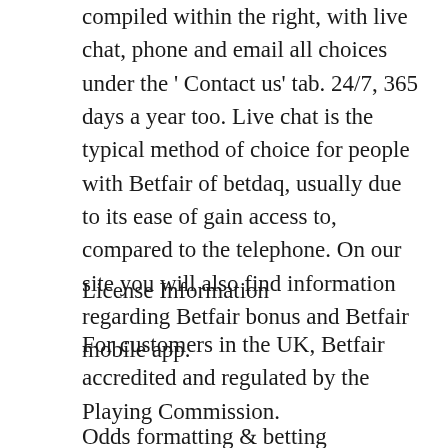compiled within the right, with live chat, phone and email all choices under the ' Contact us' tab. 24/7, 365 days a year too. Live chat is the typical method of choice for people with Betfair of betdaq, usually due to its ease of gain access to, compared to the telephone. On our site you will also find information regarding Betfair bonus and Betfair mobile app.
License Information
For customers in the UK, Betfair accredited and regulated by the Playing Commission.
Odds formatting & betting exchange